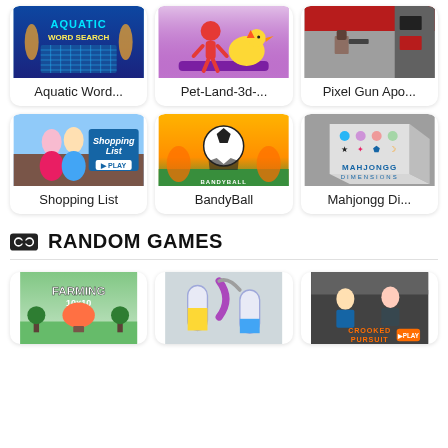[Figure (screenshot): Grid of 6 game cards: Aquatic Word Search, Pet-Land-3d, Pixel Gun Apocalypse, Shopping List, BandyBall, Mahjongg Dimensions]
RANDOM GAMES
[Figure (screenshot): Grid of 3 game thumbnails at bottom: Farming 10x10, chemistry/liquid puzzle game, Crooked Pursuit]